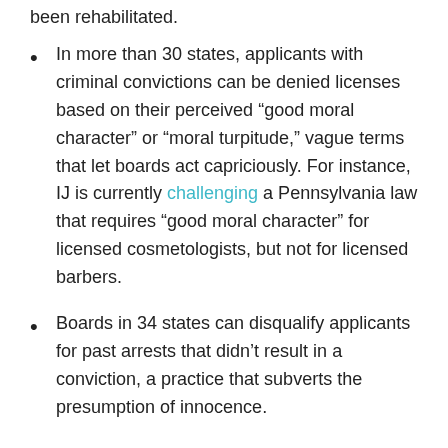been rehabilitated.
In more than 30 states, applicants with criminal convictions can be denied licenses based on their perceived “good moral character” or “moral turpitude,” vague terms that let boards act capriciously. For instance, IJ is currently challenging a Pennsylvania law that requires “good moral character” for licensed cosmetologists, but not for licensed barbers.
Boards in 34 states can disqualify applicants for past arrests that didn’t result in a conviction, a practice that subverts the presumption of innocence.